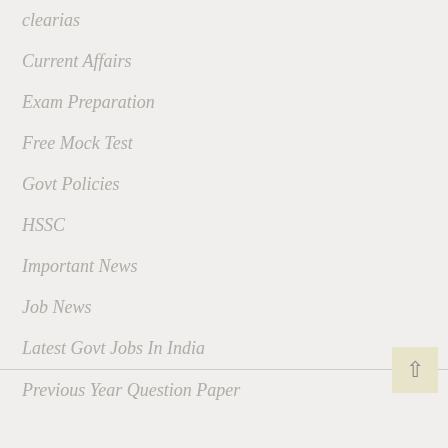clearias
Current Affairs
Exam Preparation
Free Mock Test
Govt Policies
HSSC
Important News
Job News
Latest Govt Jobs In India
Previous Year Question Paper